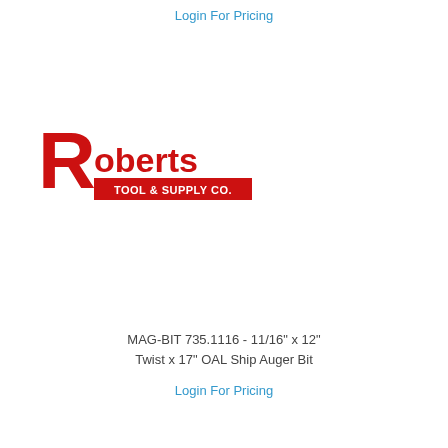Login For Pricing
[Figure (logo): Roberts Tool & Supply Co. logo — large red stylized R with 'oberts' in red, and a red bar with 'TOOL & SUPPLY CO.' in white text]
MAG-BIT 735.1116 - 11/16" x 12" Twist x 17" OAL Ship Auger Bit
Login For Pricing